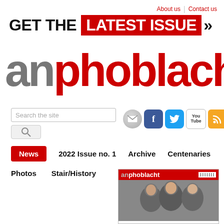About us | Contact us
GET THE LATEST ISSUE »
[Figure (logo): An Phoblacht logo — 'an' in grey and 'phoblacht' in red, large bold text]
[Figure (screenshot): Search box with text 'Search the site' and search button, plus social media icons: email, Facebook, Twitter, YouTube, RSS]
News
2022 Issue no. 1
Archive
Centenaries
Photos
Stair/History
[Figure (photo): An Phoblacht magazine cover showing the masthead and a photo of political figures]